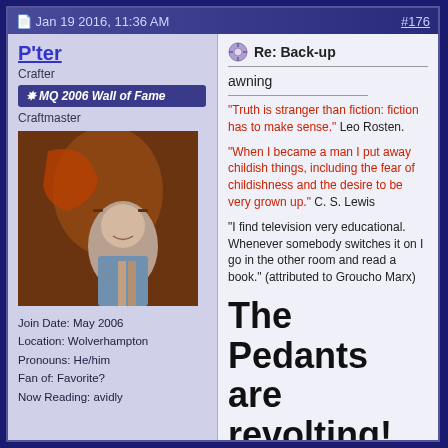Jan 19 2016, 11:36 AM   #176
P'ter
Crafter
✸ MQ 2006 Wall of Fame
Craftmaster
[Figure (photo): Avatar image showing a painted portrait of a man with a guitar and a snake/dragon behind him]
Join Date: May 2006
Location: Wolverhampton
Pronouns: He/him
Fan of: Favorite?
Now Reading: avidly
Re: Back-up
awning
"Truth is stranger than fiction: fiction has to make sense." Leo Rosten.

"When I became a man I put away childish things, including the fear of childishness and the desire to be very grown up." C. S. Lewis

"I find television very educational. Whenever somebody switches it on I go in the other room and read a book." (attributed to Groucho Marx)

The Pedants are revolting! (against bad grammar)